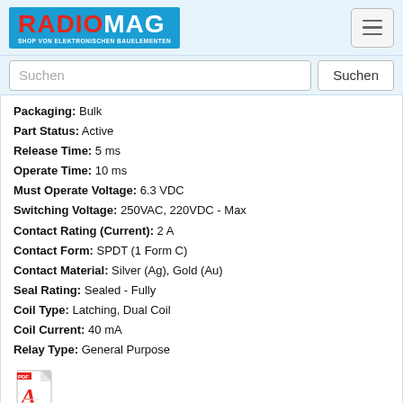RADIOMAG - SHOP VON ELEKTRONISCHEN BAUELEMENTEN
Packaging: Bulk
Part Status: Active
Release Time: 5 ms
Operate Time: 10 ms
Must Operate Voltage: 6.3 VDC
Switching Voltage: 250VAC, 220VDC - Max
Contact Rating (Current): 2 A
Contact Form: SPDT (1 Form C)
Contact Material: Silver (Ag), Gold (Au)
Seal Rating: Sealed - Fully
Coil Type: Latching, Dual Coil
Coil Current: 40 mA
Relay Type: General Purpose
[Figure (illustration): PDF document icon with red Acrobat logo symbol]
Produkt ist nicht verfügbar, Sie können Anfrage senden wenn Sie Produkt in den Warenkorb hinzufügen
kaufen